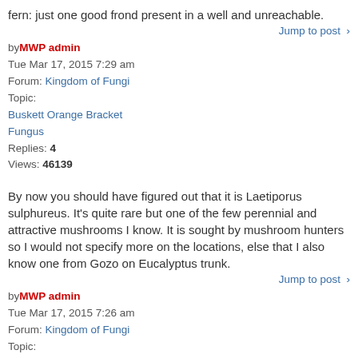fern: just one good frond present in a well and unreachable.
Jump to post ›
by MWP admin
Tue Mar 17, 2015 7:29 am
Forum: Kingdom of Fungi
Topic: Buskett Orange Bracket Fungus
Replies: 4
Views: 46139
By now you should have figured out that it is Laetiporus sulphureus. It's quite rare but one of the few perennial and attractive mushrooms I know. It is sought by mushroom hunters so I would not specify more on the locations, else that I also know one from Gozo on Eucalyptus trunk.
Jump to post ›
by MWP admin
Tue Mar 17, 2015 7:26 am
Forum: Kingdom of Fungi
Topic: Wied Babu on a fallen bark
Replies: 3
Views: 19924
These are what are called polypores. It' one of the main branches of funghi (have their own morphology/characters) but I never studied them yet. They are often found attached to (dead) logs.
Jump to post ›